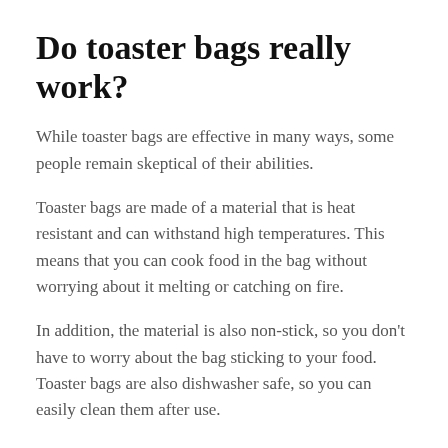Do toaster bags really work?
While toaster bags are effective in many ways, some people remain skeptical of their abilities.
Toaster bags are made of a material that is heat resistant and can withstand high temperatures. This means that you can cook food in the bag without worrying about it melting or catching on fire.
In addition, the material is also non-stick, so you don't have to worry about the bag sticking to your food. Toaster bags are also dishwasher safe, so you can easily clean them after use.
Overall, toaster bags are an easy and convenient way to cook food that would otherwise be difficult to prepare in the microwave.
Are toaster bags toxic?